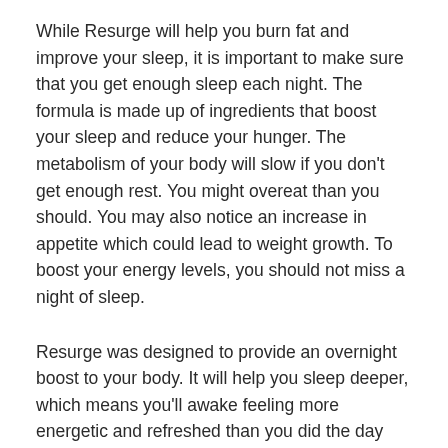While Resurge will help you burn fat and improve your sleep, it is important to make sure that you get enough sleep each night. The formula is made up of ingredients that boost your sleep and reduce your hunger. The metabolism of your body will slow if you don't get enough rest. You might overeat than you should. You may also notice an increase in appetite which could lead to weight growth. To boost your energy levels, you should not miss a night of sleep.
Resurge was designed to provide an overnight boost to your body. It will help you sleep deeper, which means you'll awake feeling more energetic and refreshed than you did the day prior to. It also offers other